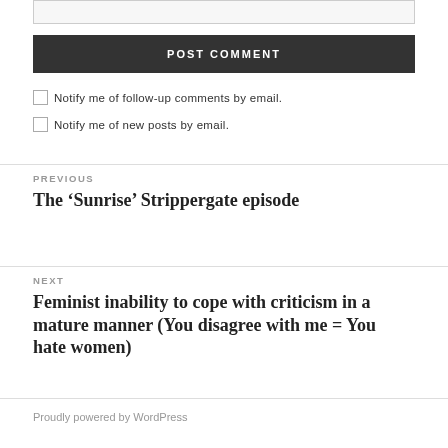POST COMMENT
Notify me of follow-up comments by email.
Notify me of new posts by email.
PREVIOUS
The ‘Sunrise’ Strippergate episode
NEXT
Feminist inability to cope with criticism in a mature manner (You disagree with me = You hate women)
Proudly powered by WordPress